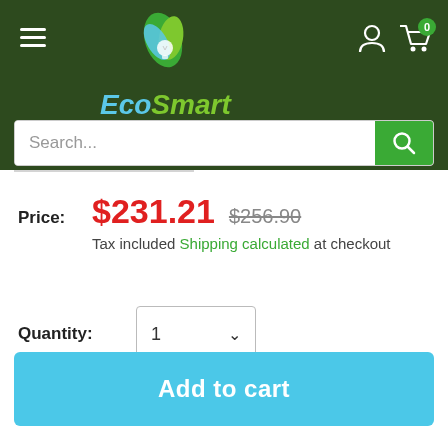EcoSmart Lighting — navigation header with logo, hamburger menu, search bar, account and cart icons
Price: $231.21  $256.90
Tax included Shipping calculated at checkout
Quantity: 1
Add to cart